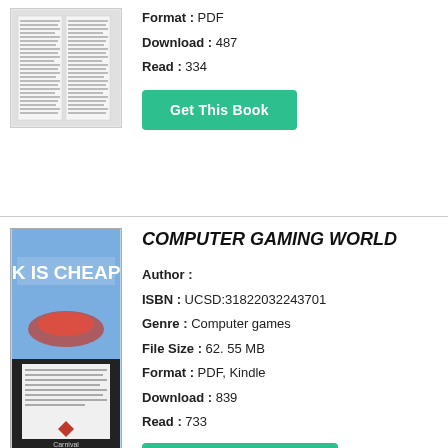[Figure (photo): Thumbnail of a book cover showing text columns]
Format : PDF
Download : 487
Read : 334
Get This Book
[Figure (photo): Cover of Computer Gaming World magazine book, showing 'K IS CHEAP' text and car imagery in blue tones, publisher Carnival at bottom]
COMPUTER GAMING WORLD
Author :
ISBN : UCSD:31822032243701
Genre : Computer games
File Size : 62. 55 MB
Format : PDF, Kindle
Download : 839
Read : 733
Get This Book